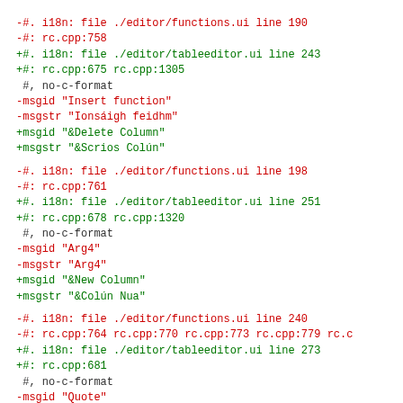-#. i18n: file ./editor/functions.ui line 190
-#: rc.cpp:758
+#. i18n: file ./editor/tableeditor.ui line 243
+#: rc.cpp:675 rc.cpp:1305
 #, no-c-format
-msgid "Insert function"
-msgstr "Ionsáigh feidhm"
+msgid "&Delete Column"
+msgstr "&Scrios Colún"
-#. i18n: file ./editor/functions.ui line 198
-#: rc.cpp:761
+#. i18n: file ./editor/tableeditor.ui line 251
+#: rc.cpp:678 rc.cpp:1320
 #, no-c-format
-msgid "Arg4"
-msgstr "Arg4"
+msgid "&New Column"
+msgstr "&Colún Nua"
-#. i18n: file ./editor/functions.ui line 240
-#: rc.cpp:764 rc.cpp:770 rc.cpp:773 rc.cpp:779 rc.c
+#. i18n: file ./editor/tableeditor.ui line 273
+#: rc.cpp:681
 #, no-c-format
-msgid "Quote"
-msgstr ""
+msgid "Table:"
+msgstr "Tábla:"